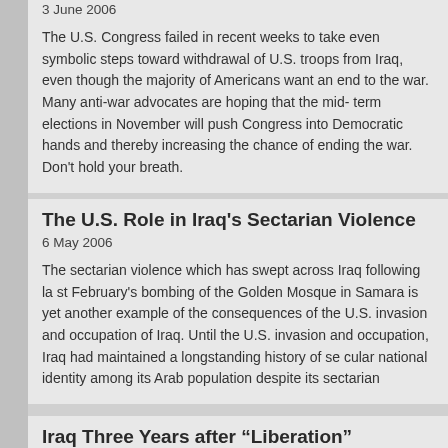3 June 2006
The U.S. Congress failed in recent weeks to take even symbolic steps toward withdrawal of U.S. troops from Iraq, even though the majority of Americans want an end to the war. Many anti-war advocates are hoping that the midterm elections in November will push Congress into Democratic hands and thereby increase the chance of ending the war. Don't hold your breath.
The U.S. Role in Iraq’s Sectarian Violence
6 May 2006
The sectarian violence which has swept across Iraq following last February’s bombing of the Golden Mosque in Samara is yet another example of the unintended consequences of the U.S. invasion and occupation of Iraq. Until the U.S. invasion and occupation, Iraq had maintained a longstanding history of secular and national identity among its Arab population despite its sectarian divisions.
Iraq Three Years after “Liberation”
21 April 2006
Three years after U.S. forces captured Baghdad, Iraqis are suffering...